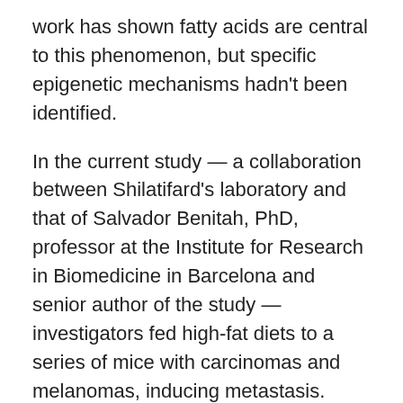work has shown fatty acids are central to this phenomenon, but specific epigenetic mechanisms hadn't been identified.
In the current study — a collaboration between Shilatifard's laboratory and that of Salvador Benitah, PhD, professor at the Institute for Research in Biomedicine in Barcelona and senior author of the study — investigators fed high-fat diets to a series of mice with carcinomas and melanomas, inducing metastasis.
They found that one specific compound, dietary palmitic acid, encourages metastasis by stimulating intratumor Schwann cells. These cells are involved in